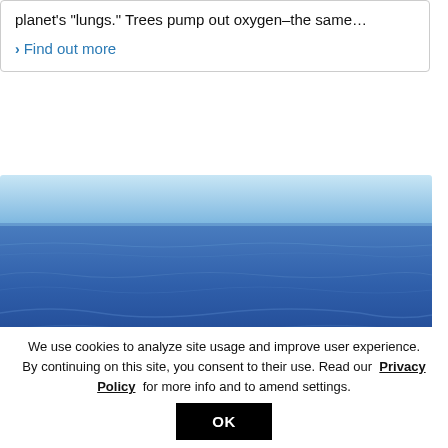planet's "lungs." Trees pump out oxygen–the same…
› Find out more
[Figure (photo): Wide-angle photo of open ocean with deep blue water and gentle waves, clear sky at the horizon.]
We use cookies to analyze site usage and improve user experience. By continuing on this site, you consent to their use. Read our Privacy Policy for more info and to amend settings.
OK